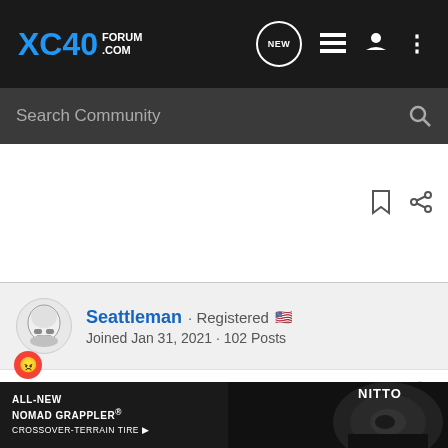XC40 FORUM.COM
Search Community
Seattleman · Registered · Joined Jan 31, 2021 · 102 Posts
#7 · May 6, 2021
Barbara said: ↑ Hi. Has anyone received the Camera Temporarily Unavailable message when in reverse? This has been happening sporadically for me. Very frustrating as I lose my rear camera view while backing up.
[Figure (photo): Advertisement for Nitto ALL-NEW NOMAD GRAPPLER CROSSOVER-TERRAIN TIRE showing tire on vehicle]